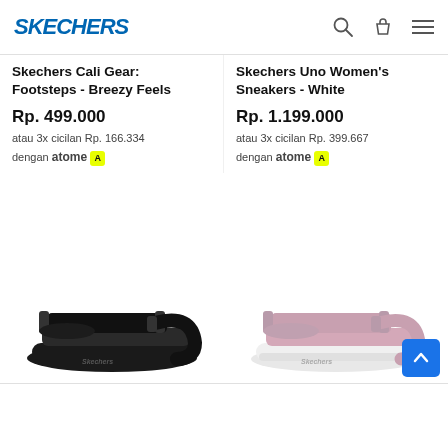SKECHERS
Skechers Cali Gear: Footsteps - Breezy Feels
Rp. 499.000
Atau 3x cicilan Rp. 166.334 dengan atome
Skechers Uno Women's Sneakers - White
Rp. 1.199.000
Atau 3x cicilan Rp. 399.667 dengan atome
[Figure (photo): Black Skechers sandal with chunky sole, two velcro straps, side view]
[Figure (photo): Pink/mauve Skechers sandal with white chunky sole, two velcro straps, side view]